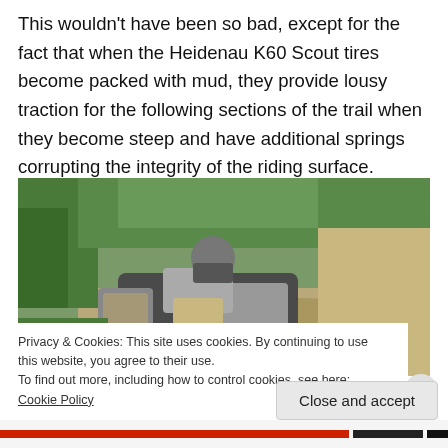This wouldn't have been so bad, except for the fact that when the Heidenau K60 Scout tires become packed with mud, they provide lousy traction for the following sections of the trail when they become steep and have additional springs corrupting the integrity of the riding surface.
[Figure (photo): A heavily loaded motorcycle with luggage and panniers on a dirt trail surrounded by green shrubs and trees. The rider is wearing full gear including a helmet.]
Privacy & Cookies: This site uses cookies. By continuing to use this website, you agree to their use.
To find out more, including how to control cookies, see here: Cookie Policy